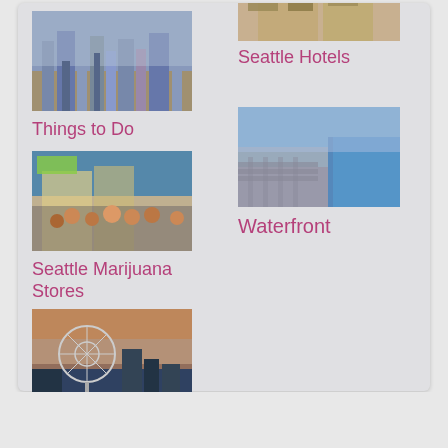[Figure (photo): Aerial city view of Seattle skyline]
Things to Do
[Figure (photo): Crowd outside a store, Seattle Marijuana Stores]
Seattle Marijuana Stores
[Figure (photo): Seattle Great Wheel (Ferris Wheel) at waterfront at dusk]
Ferris Wheel
[Figure (photo): Hotel interior room]
Seattle Hotels
[Figure (photo): Aerial view of Seattle waterfront and harbor]
Waterfront